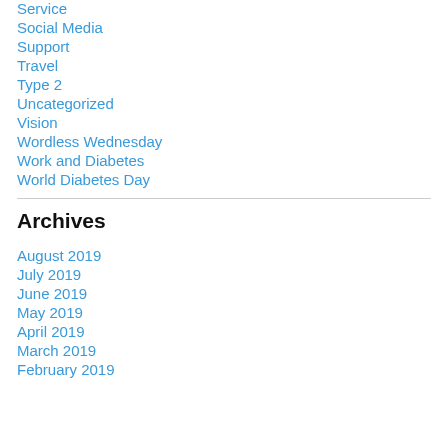Service
Social Media
Support
Travel
Type 2
Uncategorized
Vision
Wordless Wednesday
Work and Diabetes
World Diabetes Day
Archives
August 2019
July 2019
June 2019
May 2019
April 2019
March 2019
February 2019